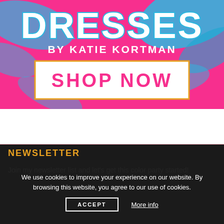[Figure (illustration): Promotional banner with bright pink and blue swirl background. Large white bold text reads 'DRESSES' with blue shadow effect. Below it: 'BY KATIE KORTMAN' in white bold uppercase. A white rectangular button with gold/orange border contains pink bold text 'SHOP NOW'.]
NEWSLETTER
Join my newsletter list and let's get this color party started!
We use cookies to improve your experience on our website. By browsing this website, you agree to our use of cookies.
ACCEPT   More info